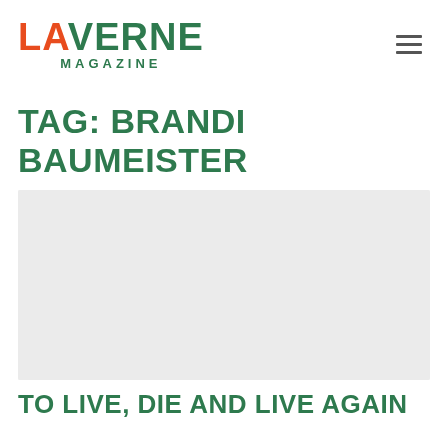LA VERNE MAGAZINE
TAG: BRANDI BAUMEISTER
[Figure (photo): Large gray placeholder image for an article]
TO LIVE, DIE AND LIVE AGAIN